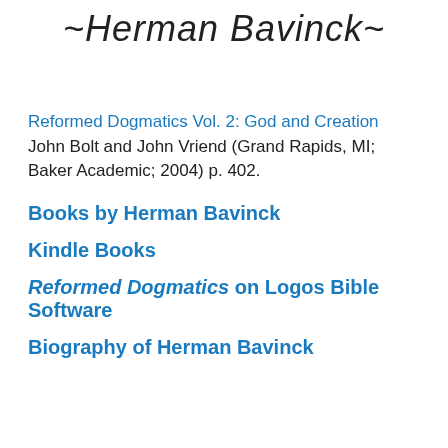~Herman Bavinck~
Reformed Dogmatics Vol. 2: God and Creation John Bolt and John Vriend (Grand Rapids, MI; Baker Academic; 2004) p. 402.
Books by Herman Bavinck
Kindle Books
Reformed Dogmatics on Logos Bible Software
Biography of Herman Bavinck